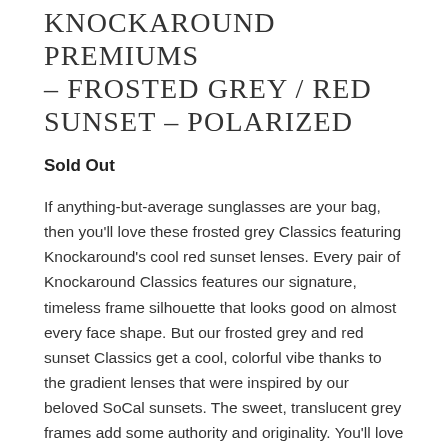KNOCKAROUND PREMIUMS - FROSTED GREY / RED SUNSET - POLARIZED
Sold Out
If anything-but-average sunglasses are your bag, then you'll love these frosted grey Classics featuring Knockaround's cool red sunset lenses. Every pair of Knockaround Classics features our signature, timeless frame silhouette that looks good on almost every face shape. But our frosted grey and red sunset Classics get a cool, colorful vibe thanks to the gradient lenses that were inspired by our beloved SoCal sunsets. The sweet, translucent grey frames add some authority and originality. You'll love Classics for their durable construction, unisex design and,